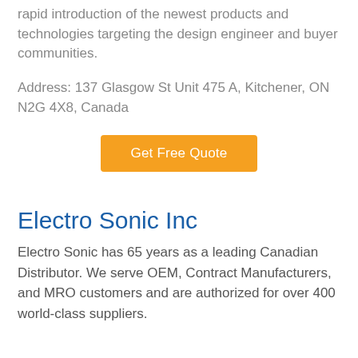rapid introduction of the newest products and technologies targeting the design engineer and buyer communities.
Address: 137 Glasgow St Unit 475 A, Kitchener, ON N2G 4X8, Canada
[Figure (other): Orange button labeled 'Get Free Quote']
Electro Sonic Inc
Electro Sonic has 65 years as a leading Canadian Distributor. We serve OEM, Contract Manufacturers, and MRO customers and are authorized for over 400 world-class suppliers.